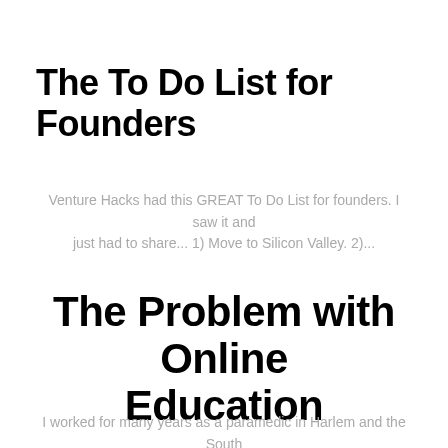The To Do List for Founders
Venture Hacks had this GREAT To Do List for founders. I saw it and just had to share... 1) Move to Silicon Valley. 2)...
The Problem with Online Education
I worked for many years as a paramedic in Harlem and the South Bronx. For a lot of the people I worked with, EMS was...